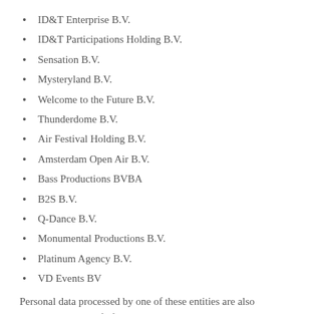ID&T Enterprise B.V.
ID&T Participations Holding B.V.
Sensation B.V.
Mysteryland B.V.
Welcome to the Future B.V.
Thunderdome B.V.
Air Festival Holding B.V.
Amsterdam Open Air B.V.
Bass Productions BVBA
B2S B.V.
Q-Dance B.V.
Monumental Productions B.V.
Platinum Agency B.V.
VD Events BV
Personal data processed by one of these entities are also processed on behalf of the other entities within the ID&T network.
The entities within the ID&T network may provide their services through different websites. This Privacy Statement applies to all